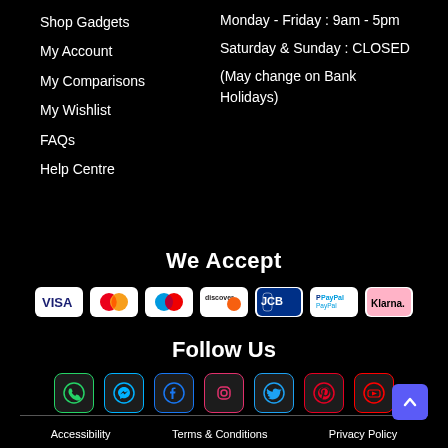Shop Gadgets
My Account
My Comparisons
My Wishlist
FAQs
Help Centre
Monday - Friday : 9am - 5pm
Saturday & Sunday : CLOSED
(May change on Bank Holidays)
We Accept
[Figure (infographic): Payment method icons: VISA, Mastercard, Maestro, Discover, JCB, PayPal, Klarna]
Follow Us
[Figure (infographic): Social media icons: WhatsApp, Messenger, Facebook, Instagram, Twitter, Pinterest, YouTube]
Accessibility   Terms & Conditions   Privacy Policy